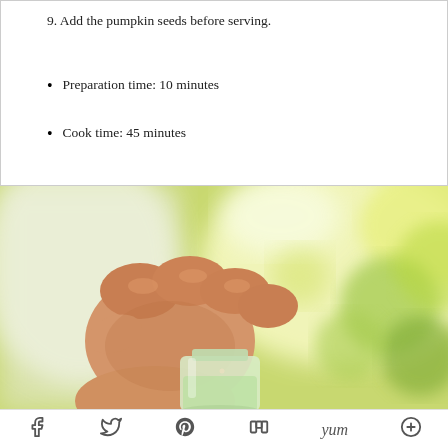9. Add the pumpkin seeds before serving.
Preparation time: 10 minutes
Cook time: 45 minutes
[Figure (photo): A hand holding a glass jar filled with a light green liquid, with soft-focus green foliage in the background]
Social share bar: Facebook, Twitter, Pinterest, Mix, Yum, More